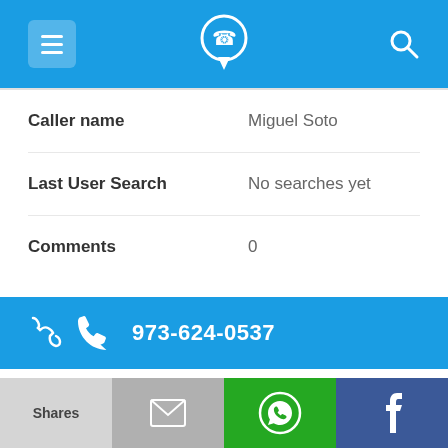Phone lookup app header with menu, phone logo, and search icons
| Field | Value |
| --- | --- |
| Caller name | Miguel Soto |
| Last User Search | No searches yet |
| Comments | 0 |
973-624-0537
| Field | Value |
| --- | --- |
| Alternate Form | 9736240537 |
| Caller name | James Capers |
Shares | (email) | (WhatsApp) | (Facebook)